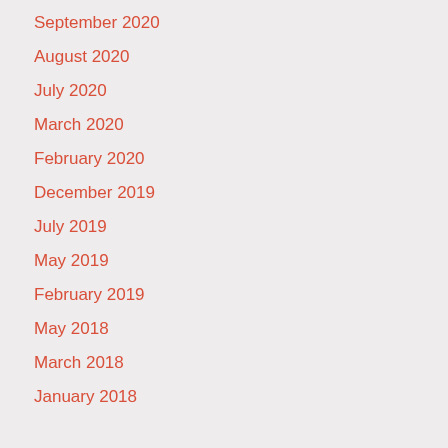September 2020
August 2020
July 2020
March 2020
February 2020
December 2019
July 2019
May 2019
February 2019
May 2018
March 2018
January 2018